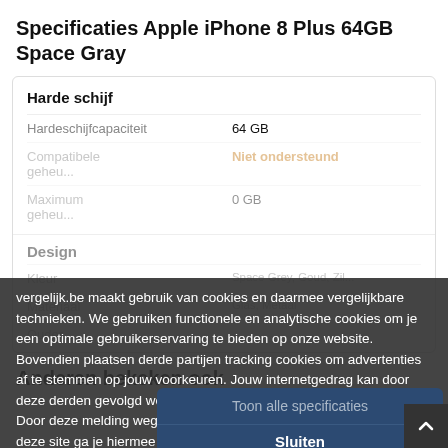Specificaties Apple iPhone 8 Plus 64GB Space Gray
|  |  |
| --- | --- |
| Harde schijf |  |
| Hardeschijfcapaciteit | 64 GB |
| Compatibele geheu... | Niet ondersteund |
| Maximum geheu... | 0 GB |
| Design |  |
| Kleur | Space Grey, Goud, Zil... |
| Materiaal | Glas, Metaal |
| Ouder... |  |
vergelijk.be maakt gebruik van cookies en daarmee vergelijkbare technieken. We gebruiken functionele en analytische cookies om je een optimale gebruikerservaring te bieden op onze website. Bovendien plaatsen derde partijen tracking cookies om advertenties af te stemmen op jouw voorkeuren. Jouw internetgedrag kan door deze derden gevolgd worden door middel van deze tracking cookies. Door deze melding weg te klikken of gebruik te blijven maken van deze site ga je hiermee akkoord. Meer informatie over deze cookies vind je hier.
Toon alle specificaties
Sluiten
Laden...
Anderen bekeken ook